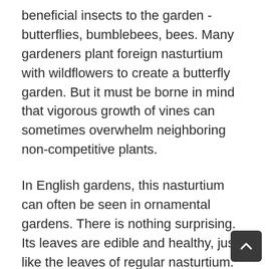beneficial insects to the garden - butterflies, bumblebees, bees. Many gardeners plant foreign nasturtium with wildflowers to create a butterfly garden. But it must be borne in mind that vigorous growth of vines can sometimes overwhelm neighboring non-competitive plants.
In English gardens, this nasturtium can often be seen in ornamental gardens. There is nothing surprising. Its leaves are edible and healthy, just like the leaves of regular nasturtium. However, flowers, seeds and even stems are also edible, they all have a characteristic pungent aroma. Young seeds are used as a substitute for capers and